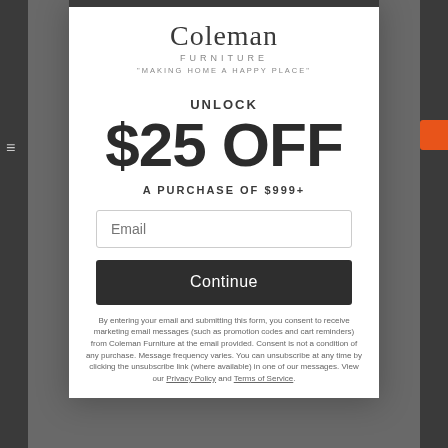[Figure (logo): Coleman Furniture logo with tagline 'MAKING HOME A HAPPY PLACE']
UNLOCK $25 OFF
A PURCHASE OF $999+
Email (input field placeholder)
Continue (button)
By entering your email and submitting this form, you consent to receive marketing email messages (such as promotion codes and cart reminders) from Coleman Furniture at the email provided. Consent is not a condition of any purchase. Message frequency varies. You can unsubscribe at any time by clicking the unsubscribe link (where available) in one of our messages. View our Privacy Policy and Terms of Service.